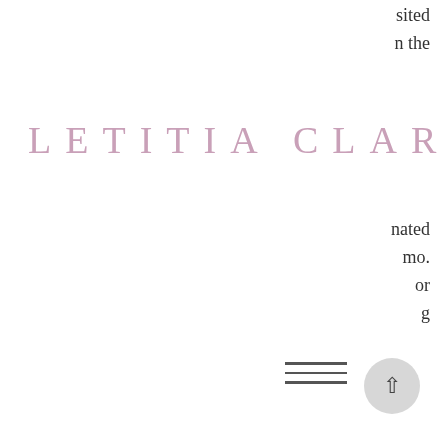sited
n the
LETITIA CLARK
nated
mo.
or
g
[Figure (other): Hamburger menu icon with three horizontal lines]
produced to honour the Archbishop during his visit. The nuns created the marzipan fruits, and hung them from the trees around the cloisters. Subsequently, they became a traditional gift for children the night before All Saints Day. Youngsters would awake to find baskets of marzipan fruits at the foot of their beds, supposedly left for them by their ancestors. Pastry shops all over Sicily began to produce the fruits commercially, and one